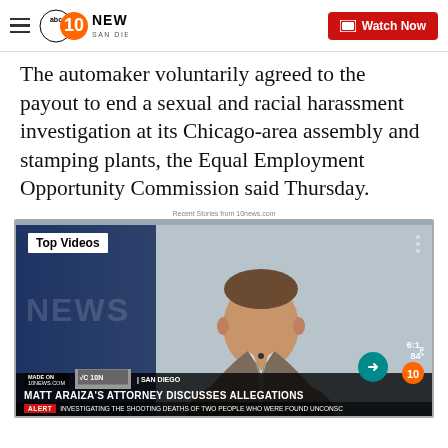10News San Diego – Watch Now
The automaker voluntarily agreed to the payout to end a sexual and racial harassment investigation at its Chicago-area assembly and stamping plants, the Equal Employment Opportunity Commission said Thursday.
Recent Stories from 10news.com
[Figure (screenshot): Video thumbnail from 10News San Diego showing a man in a grey suit being interviewed on a news set. The lower-third reads 'MATT ARAIZA'S ATTORNEY DISCUSSES ALLEGATIONS'. A breaking news ticker at the bottom reads 'ALERT  INVESTIGATING THE SHOOTING DEATHS OF TWO PEOPLE WHO WERE FOUND UNCONSC'. A 'Top Videos' label appears in the top-left. Channel bug shows 6:1_ and 84°. A teal arrow button appears bottom-right.]